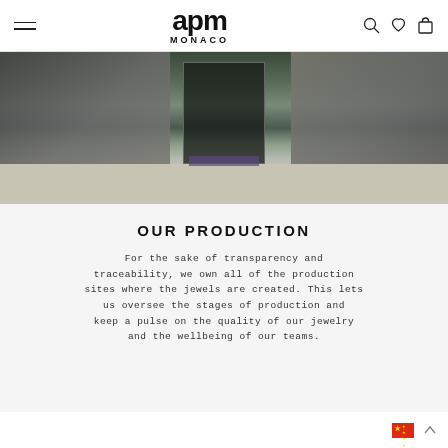APM MONACO — navigation bar with hamburger menu, logo, search, wishlist, and cart icons
[Figure (photo): Exterior photo of an APM Monaco production facility building — concrete walls, glass entrance doors, walkway with mat, green grass]
OUR PRODUCTION
For the sake of transparency and traceability, we own all of the production sites where the jewels are created. This lets us oversee the stages of production and keep a pulse on the quality of our jewelry and the wellbeing of our teams.
China flag icon and scroll-up chevron